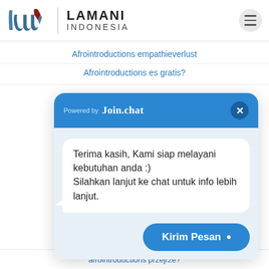[Figure (logo): Lamani Indonesia logo with stylized 'luw' graphic and text]
Afrointroductions empathieverlust
Afrointroductions es gratis?
[Figure (screenshot): Join.chat popup widget with header 'Powered by Join.chat', close button, chat message bubble saying 'Terima kasih, Kami siap melayani kebutuhan anda :) Silahkan lanjut ke chat untuk info lebih lanjut.', and a 'Kirim Pesan' button]
afrointroductions przejrze?